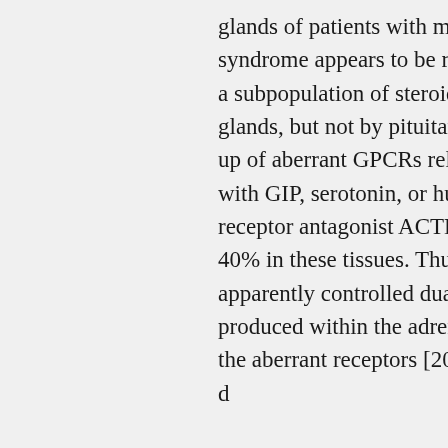glands of patients with macronodular hyperplasia of Cushings syndrome appears to be regulated by ACTH, which is produced by a subpopulation of steroidogenic cells in the hyperplastic adrenal glands, but not by pituitary adrenocorticotroph cells. Tissues made up of aberrant GPCRs release ACTH and cortisol during perifusion with GIP, serotonin, or human chorionic gonadotropin. The ACTH-receptor antagonist ACTH (7C38) inhibits cortisol secretion by 40% in these tissues. Thus, they showed that cortisol production is apparently controlled dually by aberrant GPCRs and by ACTH produced within the adrenocortical tissue, amplifying the effect of the aberrant receptors [20]. The ectopic expression of GIPR in the d...